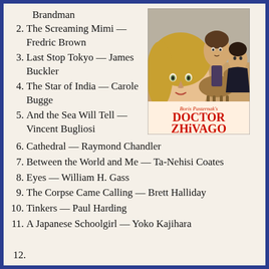Brandman
2. The Screaming Mimi — Fredric Brown
3. Last Stop Tokyo — James Buckler
4. The Star of India — Carole Bugge
5. And the Sea Will Tell — Vincent Bugliosi
[Figure (photo): Movie poster for Doctor Zhivago, based on Boris Pasternak's novel. Shows a blonde woman in foreground, a man on horseback in middle, and a dark-haired woman to the right. Red text reads 'Boris Pasternak's DOCTOR ZHiVAGO'.]
6. Cathedral — Raymond Chandler
7. Between the World and Me — Ta-Nehisi Coates
8. Eyes — William H. Gass
9. The Corpse Came Calling — Brett Halliday
10. Tinkers — Paul Harding
11. A Japanese Schoolgirl — Yoko Kajihara
12. (partially visible, cut off)